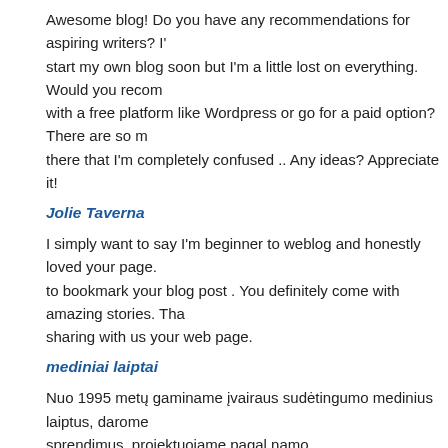Awesome blog! Do you have any recommendations for aspiring writers? I'm start my own blog soon but I'm a little lost on everything. Would you recom with a free platform like Wordpress or go for a paid option? There are so m there that I'm completely confused .. Any ideas? Appreciate it!
Jolie Taverna
I simply want to say I'm beginner to weblog and honestly loved your page. to bookmark your blog post . You definitely come with amazing stories. Tha sharing with us your web page.
mediniai laiptai
Nuo 1995 metų gaminame įvairaus sudėtingumo medinius laiptus, darome sprendimus, projektuojame pagal namo dizainą atitinkantį variantą, bei atsižvelgiant į užsakovo pageidavimus. Laiptai / Mediniai laiptai / Laiptų projektavimas / Ekskliuzyviniai laiptai / Bak
sbobet188
Thank you for sharing superb informations. Your website is very cool. I'm in the details that you've on this web site. It reveals how nicely you perceive t Bookmarked this website page, will come back for extra articles. You, my p found just the info I already searched everywhere and simply could not com What a great site.